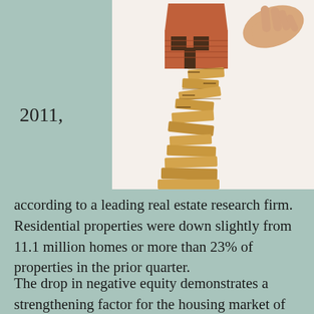[Figure (photo): A hand pushing over a house made of wooden blocks (Jenga-style), illustrating housing market instability or falling home values.]
2011,
according to a leading real estate research firm. Residential properties were down slightly from 11.1 million homes or more than 23% of properties in the prior quarter.
The drop in negative equity demonstrates a strengthening factor for the housing market of